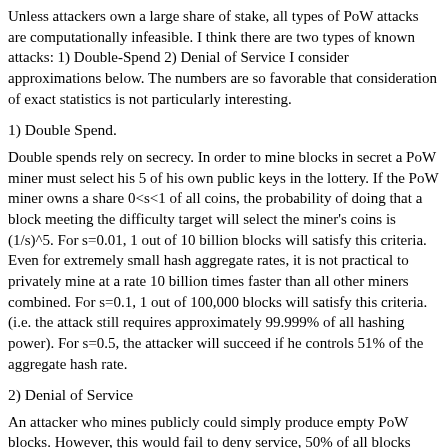Unless attackers own a large share of stake, all types of PoW attacks are computationally infeasible. I think there are two types of known attacks: 1) Double-Spend 2) Denial of Service I consider approximations below. The numbers are so favorable that consideration of exact statistics is not particularly interesting.
1) Double Spend.
Double spends rely on secrecy. In order to mine blocks in secret a PoW miner must select his 5 of his own public keys in the lottery. If the PoW miner owns a share 0<s<1 of all coins, the probability of doing that a block meeting the difficulty target will select the miner's coins is (1/s)^5. For s=0.01, 1 out of 10 billion blocks will satisfy this criteria. Even for extremely small hash aggregate rates, it is not practical to privately mine at a rate 10 billion times faster than all other miners combined. For s=0.1, 1 out of 100,000 blocks will satisfy this criteria. (i.e. the attack still requires approximately 99.999% of all hashing power). For s=0.5, the attacker will succeed if he controls 51% of the aggregate hash rate.
2) Denial of Service
An attacker who mines publicly could simply produce empty PoW blocks. However, this would fail to deny service, 50% of all blocks